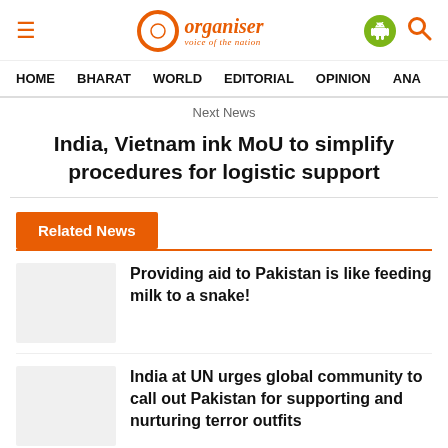Organiser — voice of the nation
HOME   BHARAT   WORLD   EDITORIAL   OPINION   ANA
Next News
India, Vietnam ink MoU to simplify procedures for logistic support
Related News
Providing aid to Pakistan is like feeding milk to a snake!
India at UN urges global community to call out Pakistan for supporting and nurturing terror outfits